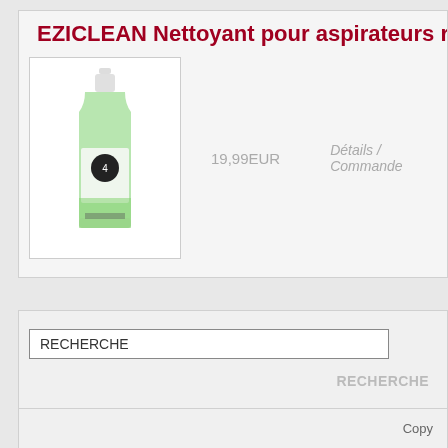EZICLEAN Nettoyant pour aspirateurs r
[Figure (photo): A green cleaning liquid bottle with white cap, product by EZICLEAN]
19,99EUR
Détails / Commande
RECHERCHE
RECHERCHE
Copy